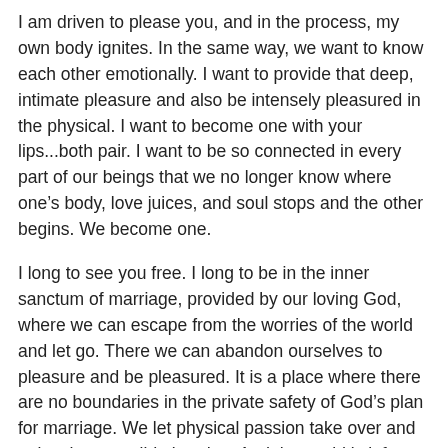I am driven to please you, and in the process, my own body ignites. In the same way, we want to know each other emotionally. I want to provide that deep, intimate pleasure and also be intensely pleasured in the physical. I want to become one with your lips...both pair. I want to be so connected in every part of our beings that we no longer know where one's body, love juices, and soul stops and the other begins. We become one.
I long to see you free. I long to be in the inner sanctum of marriage, provided by our loving God, where we can escape from the worries of the world and let go. There we can abandon ourselves to pleasure and be pleasured. It is a place where there are no boundaries in the private safety of God's plan for marriage. We let physical passion take over and unleash us to wild abandon. And the world is left behind and forgotten.